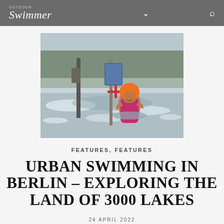OUTDOOR Swimmer
[Figure (photo): A swimmer wearing an orange swim cap and pink swimsuit stands waist-deep in an icy lake or river in Berlin, smiling. In the background are bare winter trees and a blue kiosk/post structure. The water has broken ice around the swimmer.]
FEATURES,  FEATURES
URBAN SWIMMING IN BERLIN – EXPLORING THE LAND OF 3000 LAKES
24 APRIL 2022